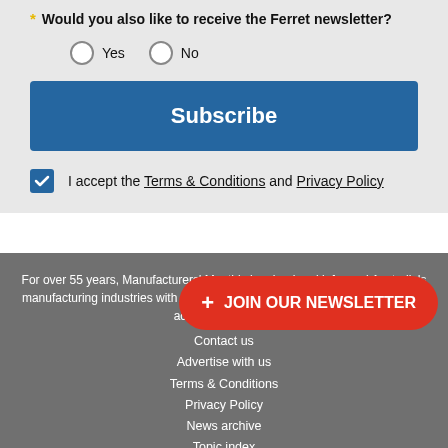Would you also like to receive the Ferret newsletter?
Yes  No
Subscribe
I accept the Terms & Conditions and Privacy Policy
For over 55 years, Manufacturers' Monthly has lead and informed Australia's manufacturing industries with its highly credible editorial environment and its acclaimed analysis
+ JOIN OUR NEWSLETTER
Contact us
Advertise with us
Terms & Conditions
Privacy Policy
News archive
Topic index